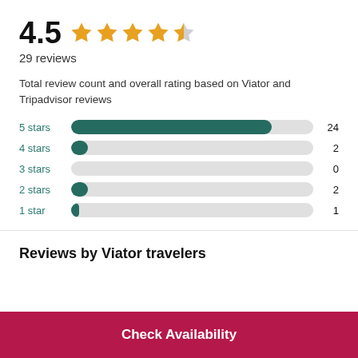4.5 ★★★★½
29 reviews
Total review count and overall rating based on Viator and Tripadvisor reviews
[Figure (bar-chart): Star rating distribution]
Reviews by Viator travelers
Check Availability